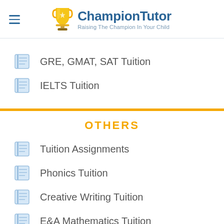ChampionTutor — Raising The Champion In Your Child
GRE, GMAT, SAT Tuition
IELTS Tuition
OTHERS
Tuition Assignments
Phonics Tuition
Creative Writing Tuition
E&A Mathematics Tuition
Math Tuition